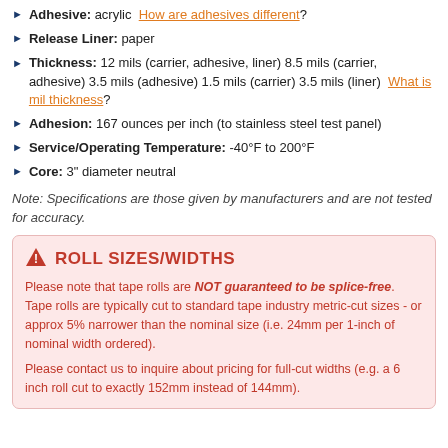Adhesive: acrylic  How are adhesives different?
Release Liner: paper
Thickness: 12 mils (carrier, adhesive, liner) 8.5 mils (carrier, adhesive) 3.5 mils (adhesive) 1.5 mils (carrier) 3.5 mils (liner)  What is mil thickness?
Adhesion: 167 ounces per inch (to stainless steel test panel)
Service/Operating Temperature: -40°F to 200°F
Core: 3" diameter neutral
Note: Specifications are those given by manufacturers and are not tested for accuracy.
ROLL SIZES/WIDTHS
Please note that tape rolls are NOT guaranteed to be splice-free. Tape rolls are typically cut to standard tape industry metric-cut sizes - or approx 5% narrower than the nominal size (i.e. 24mm per 1-inch of nominal width ordered).
Please contact us to inquire about pricing for full-cut widths (e.g. a 6 inch roll cut to exactly 152mm instead of 144mm).